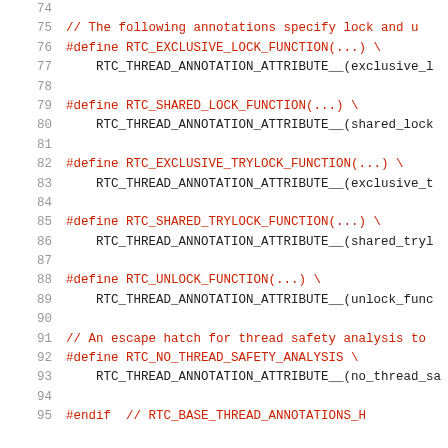[Figure (screenshot): Source code listing showing C preprocessor macro definitions for thread safety annotations (RTC_EXCLUSIVE_LOCK_FUNCTION, RTC_SHARED_LOCK_FUNCTION, RTC_EXCLUSIVE_TRYLOCK_FUNCTION, RTC_SHARED_TRYLOCK_FUNCTION, RTC_UNLOCK_FUNCTION, RTC_NO_THREAD_SAFETY_ANALYSIS) with line numbers 74-95.]